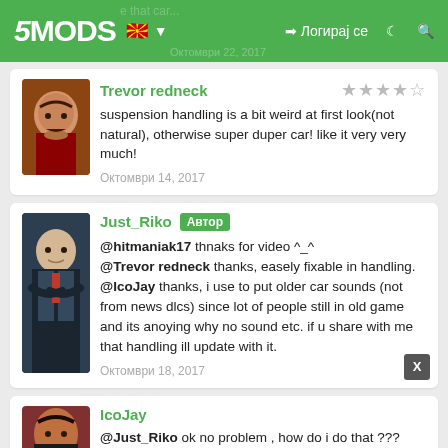5MODS | Логирај се
Trevor redneck — suspension handling is a bit weird at first look(not natural), otherwise super duper car! like it very very much! — Октомври 14, 2017
Just_Riko [Автор] — @hitmaniak17 thnaks for video ^_^ @Trevor redneck thanks, easely fixable in handling. @IcoJay thanks, i use to put older car sounds (not from news dlcs) since lot of people still in old game and its anoying why no sound etc. if u share with me that handling ill update with it. — Октомври 18, 2017
IcoJay — @Just_Riko ok no problem , how do i do that ???